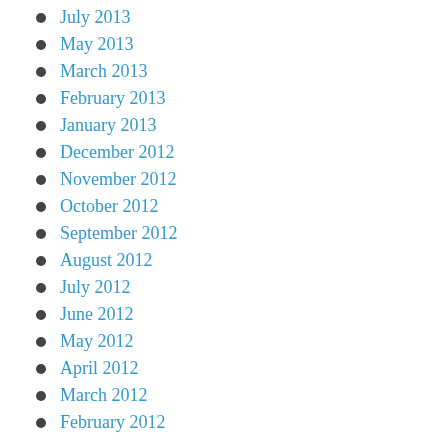July 2013
May 2013
March 2013
February 2013
January 2013
December 2012
November 2012
October 2012
September 2012
August 2012
July 2012
June 2012
May 2012
April 2012
March 2012
February 2012